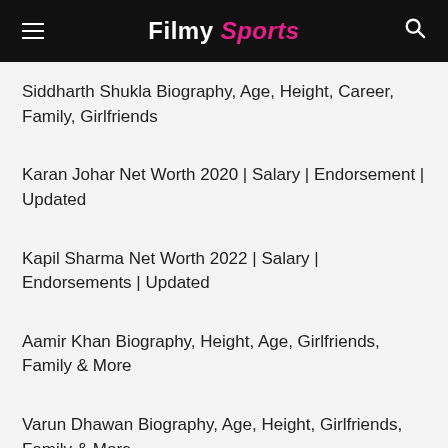Filmy Sports
Siddharth Shukla Biography, Age, Height, Career, Family, Girlfriends
Karan Johar Net Worth 2020 | Salary | Endorsement | Updated
Kapil Sharma Net Worth 2022 | Salary | Endorsements | Updated
Aamir Khan Biography, Height, Age, Girlfriends, Family & More
Varun Dhawan Biography, Age, Height, Girlfriends, Family & More